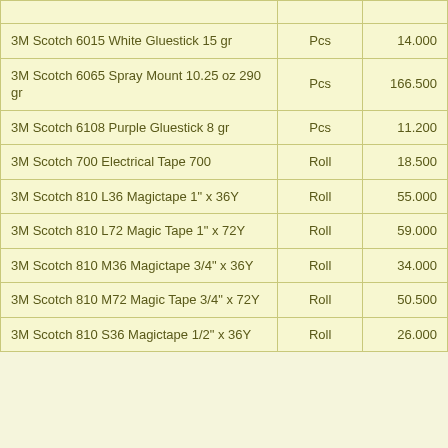|  |  |  |
| --- | --- | --- |
| 3M Scotch 6015 White Gluestick 15 gr | Pcs | 14.000 |
| 3M Scotch 6065 Spray Mount 10.25 oz 290 gr | Pcs | 166.500 |
| 3M Scotch 6108 Purple Gluestick 8 gr | Pcs | 11.200 |
| 3M Scotch 700 Electrical Tape 700 | Roll | 18.500 |
| 3M Scotch 810 L36 Magictape 1" x 36Y | Roll | 55.000 |
| 3M Scotch 810 L72 Magic Tape 1" x 72Y | Roll | 59.000 |
| 3M Scotch 810 M36 Magictape 3/4" x 36Y | Roll | 34.000 |
| 3M Scotch 810 M72 Magic Tape 3/4" x 72Y | Roll | 50.500 |
| 3M Scotch 810 S36 Magictape 1/2" x 36Y | Roll | 26.000 |